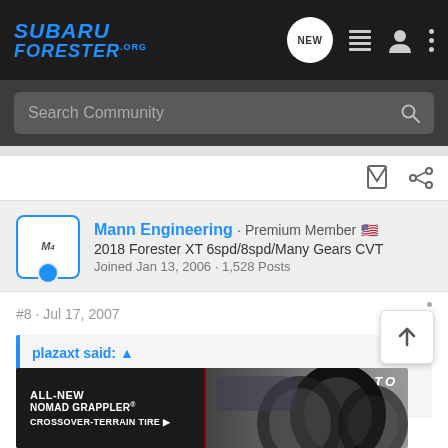Subaru Forester.org — Navigation bar
Search Community
Mann Engineering · Premium Member 🇺🇸
2018 Forester XT 6spd/8spd/Many Gears CVT
Joined Jan 13, 2006 · 1,528 Posts
#8 · Jul 17, 2007
plazaxt said: ↑
just got my swifts and air box hose big thanks to gary @ mann-
if you n... have a dyno...
[Figure (screenshot): Nitto Tires ad banner: ALL-NEW NOMAD GRAPPLER CROSSOVER-TERRAIN TIRE with tire imagery on dark background]